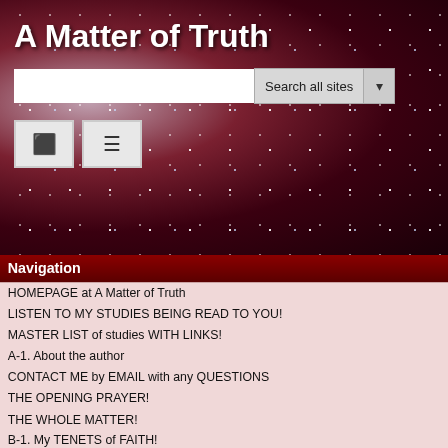A Matter of Truth
Navigation
HOMEPAGE at A Matter of Truth
LISTEN TO MY STUDIES BEING READ TO YOU!
MASTER LIST of studies WITH LINKS!
A-1. About the author
CONTACT ME by EMAIL with any QUESTIONS
THE OPENING PRAYER!
THE WHOLE MATTER!
B-1. My TENETS of FAITH!
RECOMMENDED VIDEO TEACHINGS by SUBJECT
ALL VIDEOS
>>>E-0. WHAT MUST I DO TO BE SAVED?<<<
E-1. The SIMPLICITY of the TRUE Gospel of Jesus!
E-2. Almighty God LOVES YOU SO VERY MUCH!
E-3. WHY DO I NEED TO BE SAVED?
E-4. HOW CAN I BE SAVED?
E-5. WHAT IS THE SINNERS' PRAYER?
E-6. FOR NEW BELIEVERS IN JESUS!
Cc-6 CALVINISM-LIMITED ATONEMENT PART 6
SPELLING EDITED
Cc-6. CALVIN